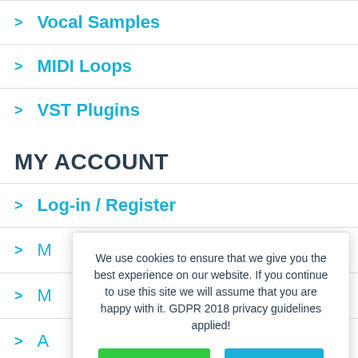Vocal Samples
MIDI Loops
VST Plugins
MY ACCOUNT
Log-in / Register
M...
M...
A...
L...
We use cookies to ensure that we give you the best experience on our website. If you continue to use this site we will assume that you are happy with it. GDPR 2018 privacy guidelines applied!
MORE INFO | ACCEPT